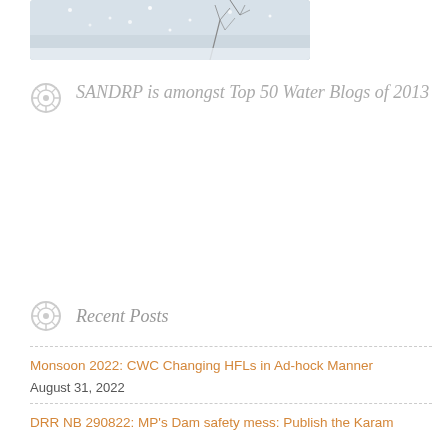[Figure (photo): Partial view of a snowy winter scene photo with bare branches, top portion visible]
SANDRP is amongst Top 50 Water Blogs of 2013
Recent Posts
Monsoon 2022: CWC Changing HFLs in Ad-hock Manner
August 31, 2022
DRR NB 290822: MP's Dam safety mess: Publish the Karam